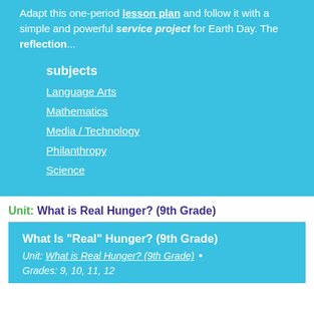Adapt this one-period lesson plan and follow it with a simple and powerful service project for Earth Day. The reflection...
subjects
Language Arts
Mathematics
Media / Technology
Philanthropy
Science
Unit: What is Real Hunger? (9th Grade)
What Is "Real" Hunger? (9th Grade)
Unit: What is Real Hunger? (9th Grade) • Grades: 9, 10, 11, 12